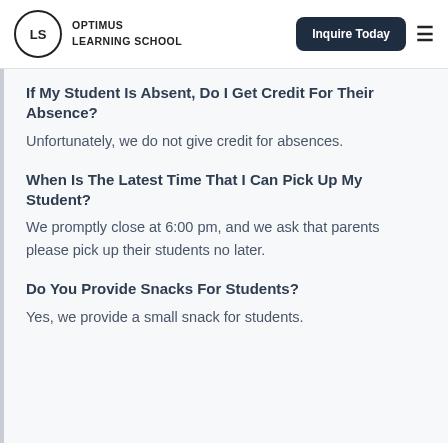OPTIMUS LEARNING SCHOOL
If My Student Is Absent, Do I Get Credit For Their Absence?
Unfortunately, we do not give credit for absences.
When Is The Latest Time That I Can Pick Up My Student?
We promptly close at 6:00 pm, and we ask that parents please pick up their students no later.
Do You Provide Snacks For Students?
Yes, we provide a small snack for students.